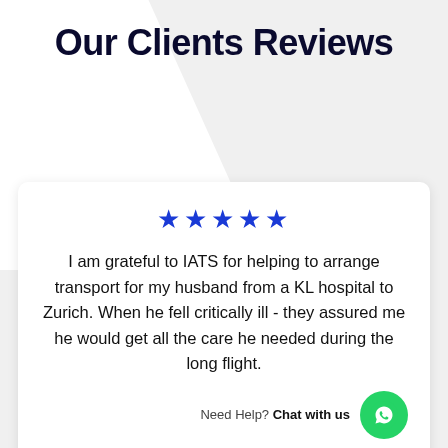Our Clients Reviews
★★★★★
I am grateful to IATS for helping to arrange transport for my husband from a KL hospital to Zurich. When he fell critically ill - they assured me he would get all the care he needed during the long flight.
Need Help? Chat with us
Malaysian citizen currently based in Switzerland